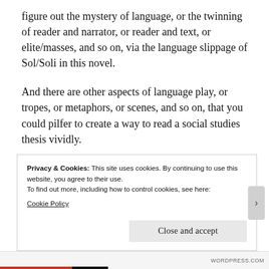figure out the mystery of language, or the twinning of reader and narrator, or reader and text, or elite/masses, and so on, via the language slippage of Sol/Soli in this novel.
And there are other aspects of language play, or tropes, or metaphors, or scenes, and so on, that you could pilfer to create a way to read a social studies thesis vividly.
Where this tack takes us, in my view, is a lot more interesting or more productive than the fairly flat notion of "tragic figures of guilt and betrayal who
Privacy & Cookies: This site uses cookies. By continuing to use this website, you agree to their use.
To find out more, including how to control cookies, see here:
Cookie Policy
Close and accept